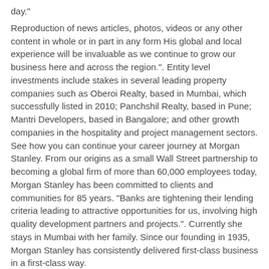day."
Reproduction of news articles, photos, videos or any other content in whole or in part in any form His global and local experience will be invaluable as we continue to grow our business here and across the region.". Entity level investments include stakes in several leading property companies such as Oberoi Realty, based in Mumbai, which successfully listed in 2010; Panchshil Realty, based in Pune; Mantri Developers, based in Bangalore; and other growth companies in the hospitality and project management sectors. See how you can continue your career journey at Morgan Stanley. From our origins as a small Wall Street partnership to becoming a global firm of more than 60,000 employees today, Morgan Stanley has been committed to clients and communities for 85 years. "Banks are tightening their lending criteria leading to attractive opportunities for us, involving high quality development partners and projects.". Currently she stays in Mumbai with her family. Since our founding in 1935, Morgan Stanley has consistently delivered first-class business in a first-class way.